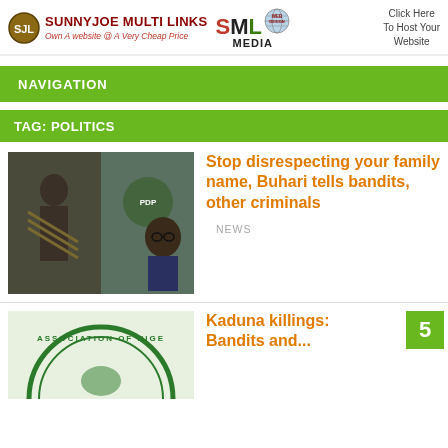Sunnyjoe Multi Links — Own A website @ A Very Cheap Price | SML MEDIA | Click Here To Host Your Website
NAVIGATION
TAG: POLITICS
[Figure (photo): Composite photo: armed masked militant on left, President Buhari on right]
Stop disrespecting your family name, Buhari tells bandits, other criminals
NEWS
[Figure (photo): Partial circular logo: Association of Nigeria...]
Kaduna killings: Bandits and...